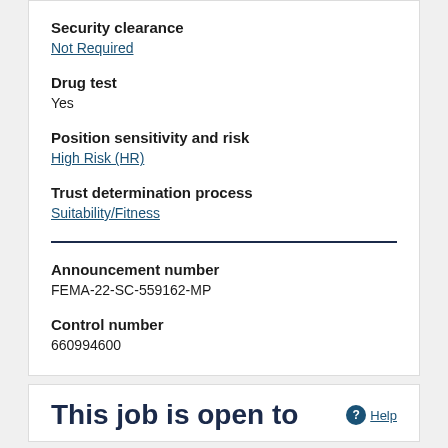Security clearance
Not Required
Drug test
Yes
Position sensitivity and risk
High Risk (HR)
Trust determination process
Suitability/Fitness
Announcement number
FEMA-22-SC-559162-MP
Control number
660994600
This job is open to